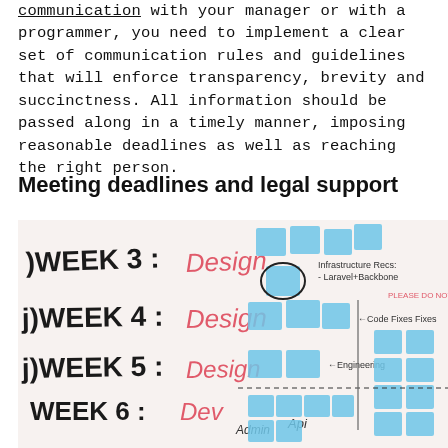communication with your manager or with a programmer, you need to implement a clear set of communication rules and guidelines that will enforce transparency, brevity and succinctness. All information should be passed along in a timely manner, imposing reasonable deadlines as well as reaching the right person.
Meeting deadlines and legal support
[Figure (photo): Photo of a whiteboard planning session showing weeks 3 through 6 design and development schedule with sticky notes, handwritten labels including WEEK 3: Design, WEEK 4: Design, WEEK 5: Design, WEEK 6: Dev, Infrastructure Recs - Laravel+Backbone, Code Fixes, Engineering, Admin API annotations.]